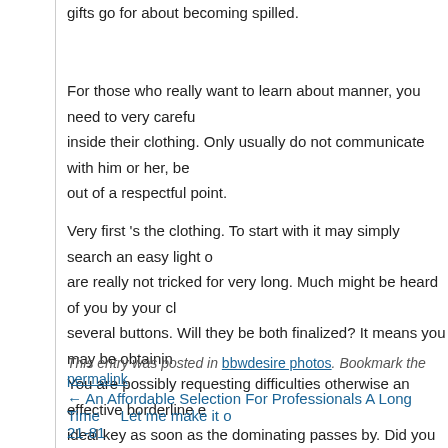gifts go for about becoming spilled.
For those who really want to learn about manner, you need to very carefully look inside their clothing. Only usually do not communicate with him or her, be out of a respectful point.
Very first 's the clothing. To start with it may simply search an easy light o are really not tricked for very long. Much might be heard of you by your c several buttons. Will they be both finalized? It means you may be obtainin You are possibly requesting difficulties otherwise an effective borderline e ideal key as soon as the dominating passes by. Did you sew inside a ben realize your a keen eleventh grader who would like to frum aside it is tryin applies to folks who managed to find out how to fit right in the safety pin th does not prick your collar-bone either. We understand who you are.
This entry was posted in bbwdesire photos. Bookmark the permalink.
← An Affordable Selection For Professionals A Long Time     Let me make it 21-81